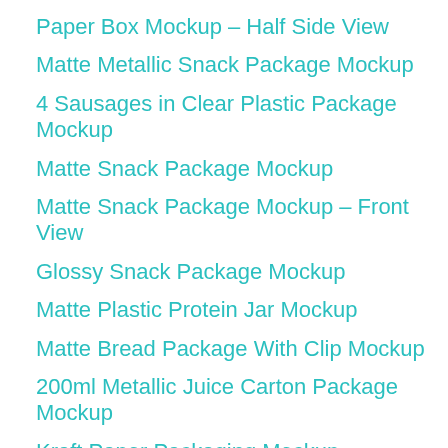Paper Box Mockup – Half Side View
Matte Metallic Snack Package Mockup
4 Sausages in Clear Plastic Package Mockup
Matte Snack Package Mockup
Matte Snack Package Mockup – Front View
Glossy Snack Package Mockup
Matte Plastic Protein Jar Mockup
Matte Bread Package With Clip Mockup
200ml Metallic Juice Carton Package Mockup
Kraft Paper Packaging Mockup
Paper Box Mockup
Kraft Snack Package Mockup
Two Glossy Snack Packages Mockup
Glossy Condom Packaging Mockup
Vacuum Package of Sausages Mockup